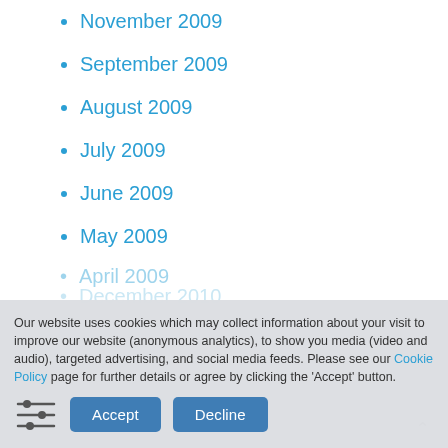November 2009
September 2009
August 2009
July 2009
June 2009
May 2009
April 2009
Our website uses cookies which may collect information about your visit to improve our website (anonymous analytics), to show you media (video and audio), targeted advertising, and social media feeds. Please see our Cookie Policy page for further details or agree by clicking the 'Accept' button.